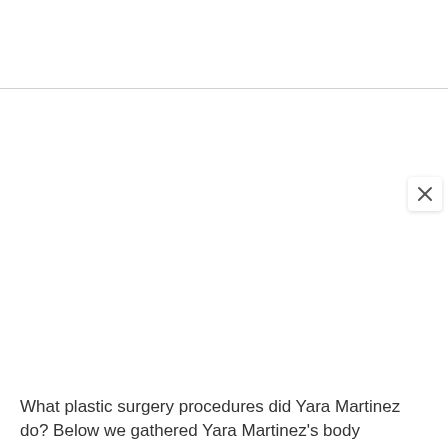[Figure (screenshot): A web browser modal/popup overlay with a close (×) button in the upper right corner against a white background with a horizontal dividing line.]
What plastic surgery procedures did Yara Martinez do? Below we gathered Yara Martinez's body